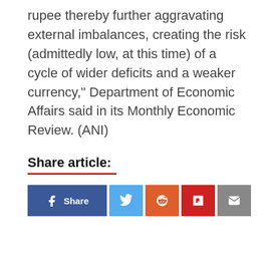rupee thereby further aggravating external imbalances, creating the risk (admittedly low, at this time) of a cycle of wider deficits and a weaker currency," Department of Economic Affairs said in its Monthly Economic Review. (ANI)
Share article:
[Figure (infographic): Social media share buttons: Facebook (Share), Twitter, Reddit, Flipboard, Email]